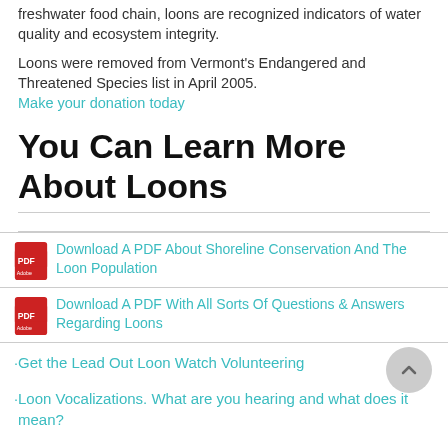freshwater food chain, loons are recognized indicators of water quality and ecosystem integrity.
Loons were removed from Vermont's Endangered and Threatened Species list in April 2005.
Make your donation today
You Can Learn More About Loons
Download A PDF About Shoreline Conservation And The Loon Population
Download A PDF With All Sorts Of Questions & Answers Regarding Loons
Get the Lead Out Loon Watch Volunteering
Loon Vocalizations. What are you hearing and what does it mean?